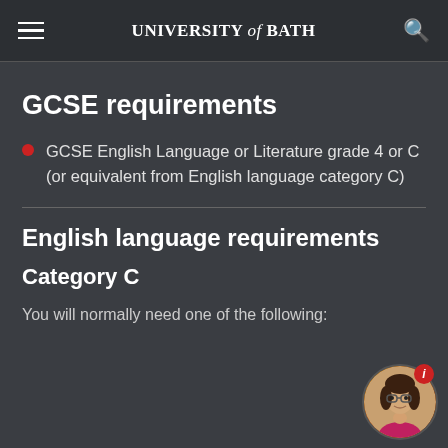UNIVERSITY of BATH
GCSE requirements
GCSE English Language or Literature grade 4 or C (or equivalent from English language category C)
English language requirements
Category C
You will normally need one of the following: